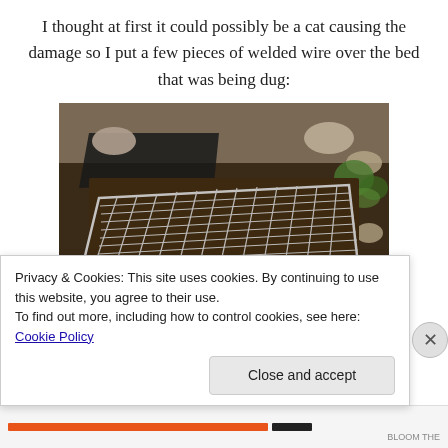I thought at first it could possibly be a cat causing the damage so I put a few pieces of welded wire over the bed that was being dug:
[Figure (photo): A garden bed covered with a metal welded wire mesh/grid laid flat on dark soil, with rocks and black plastic sheeting visible in the background and green plants at the edges.]
Privacy & Cookies: This site uses cookies. By continuing to use this website, you agree to their use.
To find out more, including how to control cookies, see here: Cookie Policy
Close and accept